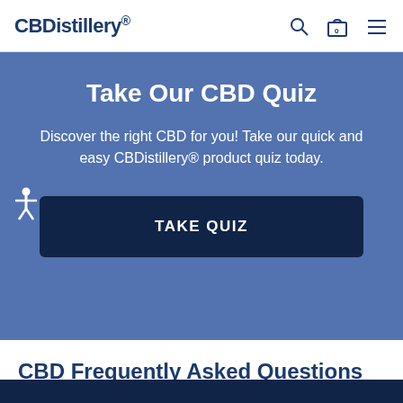CBDistillery.
Take Our CBD Quiz
Discover the right CBD for you! Take our quick and easy CBDistillery® product quiz today.
TAKE QUIZ
CBD Frequently Asked Questions